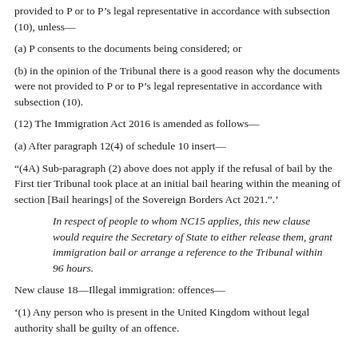provided to P or to P's legal representative in accordance with subsection (10), unless—
(a) P consents to the documents being considered; or
(b) in the opinion of the Tribunal there is a good reason why the documents were not provided to P or to P's legal representative in accordance with subsection (10).
(12) The Immigration Act 2016 is amended as follows—
(a) After paragraph 12(4) of schedule 10 insert—
“(4A) Sub-paragraph (2) above does not apply if the refusal of bail by the First tier Tribunal took place at an initial bail hearing within the meaning of section [Bail hearings] of the Sovereign Borders Act 2021.”.'
In respect of people to whom NC15 applies, this new clause would require the Secretary of State to either release them, grant immigration bail or arrange a reference to the Tribunal within 96 hours.
New clause 18—Illegal immigration: offences—
'(1) Any person who is present in the United Kingdom without legal authority shall be guilty of an offence.